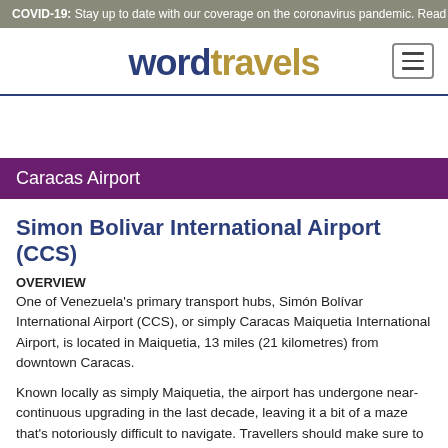COVID-19: Stay up to date with our coverage on the coronavirus pandemic. Read more >
wordtravels
Caracas Airport
Simon Bolivar International Airport (CCS)
OVERVIEW
One of Venezuela's primary transport hubs, Simón Bolívar International Airport (CCS), or simply Caracas Maiquetia International Airport, is located in Maiquetia, 13 miles (21 kilometres) from downtown Caracas.
Known locally as simply Maiquetia, the airport has undergone near-continuous upgrading in the last decade, leaving it a bit of a maze that's notoriously difficult to navigate. Travellers should make sure to leave enough time to get around when scheduling flights through Caracas Maiquetia International Airport. Getting to and from the